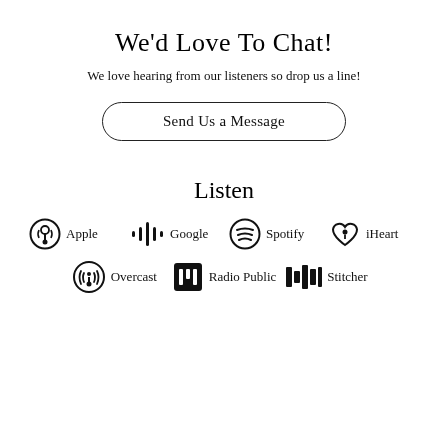We'd Love To Chat!
We love hearing from our listeners so drop us a line!
Send Us a Message
Listen
[Figure (logo): Podcast platform icons row 1: Apple, Google, Spotify, iHeart]
[Figure (logo): Podcast platform icons row 2: Overcast, Radio Public, Stitcher]